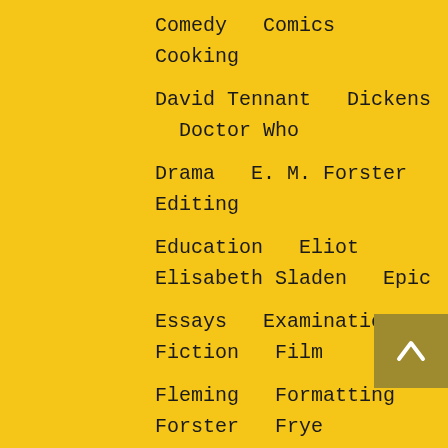Comedy  Comics  Cooking
David Tennant  Dickens  Doctor Who
Drama  E. M. Forster  Editing
Education  Eliot  Elisabeth Sladen  Epic
Essays  Examinations  Fiction  Film
Fleming  Formatting  Forster  Frye
Gandalf  Gene Colan  Greene
H. G. Wells  Hamlet
How Businesses Really Work
How Stories Really Work  Hugo  Irony
Jack Kirby  Jekyll and Hyde
Jenna Coleman  John Buscema  Keats
Lewis  Literature  Lord of the Rings
Macbeth  Marketing  Marvel  Marvell
Matt Smith  Middle-earth  Modes